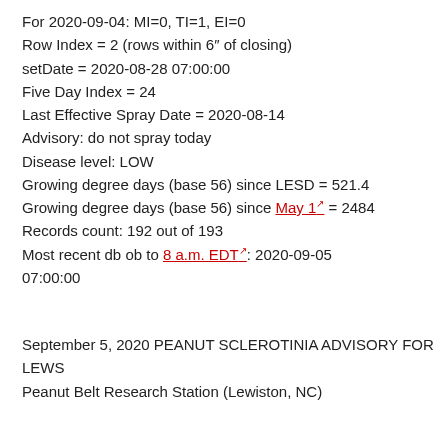For 2020-09-04: MI=0, TI=1, EI=0
Row Index = 2 (rows within 6" of closing)
setDate = 2020-08-28 07:00:00
Five Day Index = 24
Last Effective Spray Date = 2020-08-14
Advisory: do not spray today
Disease level: LOW
Growing degree days (base 56) since LESD = 521.4
Growing degree days (base 56) since May 1 = 2484
Records count: 192 out of 193
Most recent db ob to 8 a.m. EDT: 2020-09-05 07:00:00
September 5, 2020 PEANUT SCLEROTINIA ADVISORY FOR LEWS
Peanut Belt Research Station (Lewiston, NC)